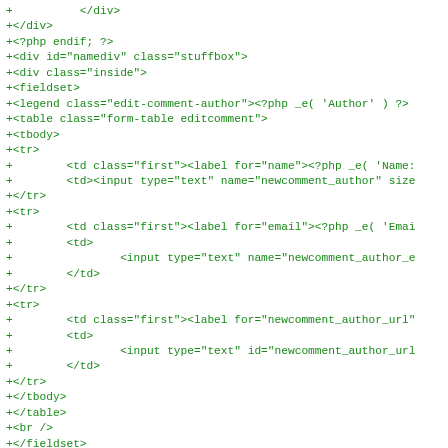Code diff showing PHP/HTML template additions including div, fieldset, legend, table, tbody, tr, td elements with form inputs for newcomment_author, newcomment_author_email, newcomment_author_url fields